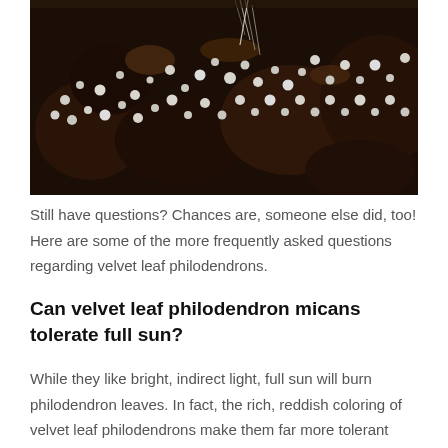[Figure (photo): Close-up photo of dark brown/black plant bulbs or roots surrounded by small white and grey pebbles/stones in a white container, with some fibrous roots visible.]
Still have questions? Chances are, someone else did, too! Here are some of the more frequently asked questions regarding velvet leaf philodendrons.
Can velvet leaf philodendron micans tolerate full sun?
While they like bright, indirect light, full sun will burn philodendron leaves. In fact, the rich, reddish coloring of velvet leaf philodendrons make them far more tolerant